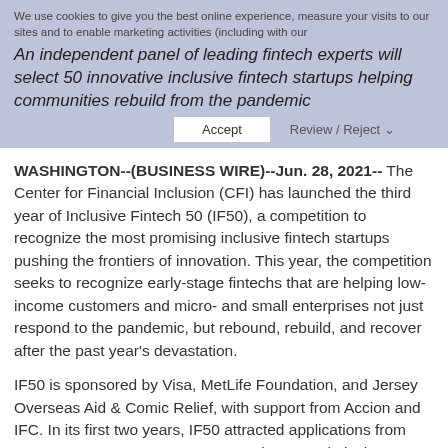We use cookies to give you the best online experience, measure your visits to our sites and to enable marketing activities (including with our
An independent panel of leading fintech experts will select 50 innovative inclusive fintech startups helping communities rebuild from the pandemic
Accept   Review / Reject
WASHINGTON--(BUSINESS WIRE)--Jun. 28, 2021-- The Center for Financial Inclusion (CFI) has launched the third year of Inclusive Fintech 50 (IF50), a competition to recognize the most promising inclusive fintech startups pushing the frontiers of innovation. This year, the competition seeks to recognize early-stage fintechs that are helping low-income customers and micro- and small enterprises not just respond to the pandemic, but rebound, rebuild, and recover after the past year's devastation.
IF50 is sponsored by Visa, MetLife Foundation, and Jersey Overseas Aid & Comic Relief, with support from Accion and IFC. In its first two years, IF50 attracted applications from over 700 startups across 162 countries, cumulatively reaching almost 175 million customers. Each year, an independent